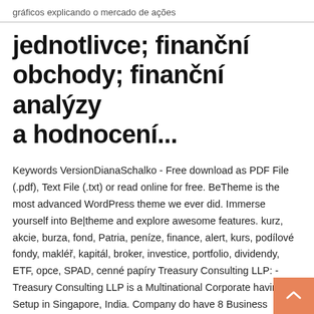gráficos explicando o mercado de ações
jednotlivce; finanční obchody; finanční analýzy a hodnocení...
Keywords VersionDianaSchalko - Free download as PDF File (.pdf), Text File (.txt) or read online for free. BeTheme is the most advanced WordPress theme we ever did. Immerse yourself into Be|theme and explore awesome features. kurz, akcie, burza, fond, Patria, peníze, finance, alert, kurs, podílové fondy, makléř, kapitál, broker, investice, portfolio, dividendy, ETF, opce, SPAD, cenné papíry Treasury Consulting LLP: - Treasury Consulting LLP is a Multinational Corporate having Setup in Singapore, India. Company do have 8 Business Verticals, 44 Business Domains whereby we are having interest in all types of Business. 110 Forex jobs available on Indeed.com. Apply to Finance Intern, Analyst, Student Intern and more! Mehul N. Madia's broad-based litigation and